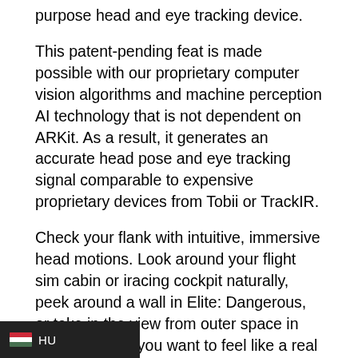purpose head and eye tracking device.
This patent-pending feat is made possible with our proprietary computer vision algorithms and machine perception AI technology that is not dependent on ARKit. As a result, it generates an accurate head pose and eye tracking signal comparable to expensive proprietary devices from Tobii or TrackIR.
Check your flank with intuitive, immersive head motions. Look around your flight sim cabin or iracing cockpit naturally, peek around a wall in Elite: Dangerous, or take in the view from outer space in Star Citizen. If you want to feel like a real pilot, racer, or soldier, you’ll need this immersive head tracking.
Read about us on Apple Insider, Engadget, & Gaming Trend!
Next Level Streaming: They see what you see. Effortlessly con your attention is focused by communicating